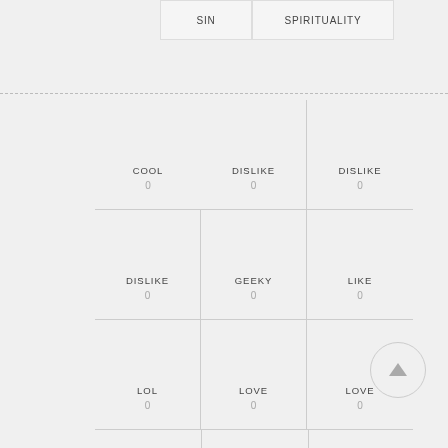| SIN | SPIRITUALITY |
| --- | --- |
| COOL
0 | DISLIKE
0 | DISLIKE
0 |
| DISLIKE
0 | GEEKY
0 | LIKE
0 |
| LOL
0 | LOVE
0 | LOVE
0 |